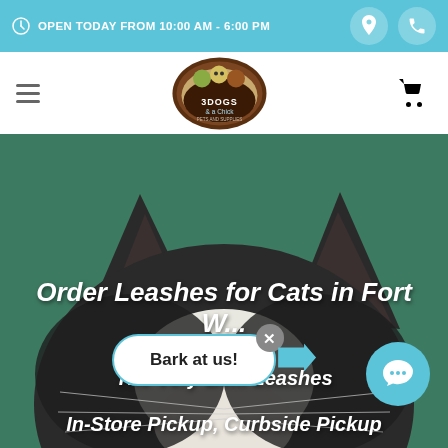OPEN TODAY FROM 10:00 AM - 6:00 PM
[Figure (logo): 3 Dogs & a Chick pet store logo — oval brown badge with animal characters and store name]
Order Leashes for Cats in Fort Worth
The Very Best... Leashes
In-Store Pickup, Curbside Pickup
[Figure (photo): Top of a black and white cat's head against a teal/green background, ears visible with whiskers]
Bark at us!